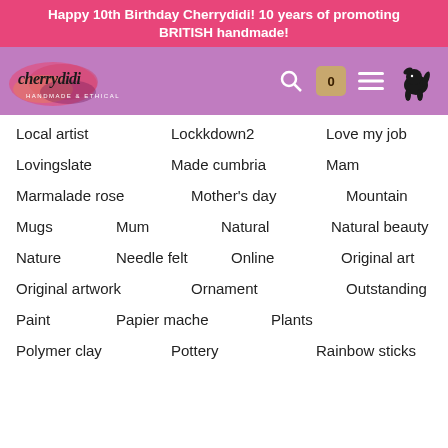Happy 10th Birthday Cherrydidi! 10 years of promoting BRITISH handmade!
[Figure (logo): Cherrydidi handmade & ethical logo with navigation icons (search, cart showing 0, hamburger menu, dog silhouette)]
Local artist
Lockkdown2
Love my job
Lovingslate
Made cumbria
Mam
Marmalade rose
Mother's day
Mountain
Mugs
Mum
Natural
Natural beauty
Nature
Needle felt
Online
Original art
Original artwork
Ornament
Outstanding
Paint
Papier mache
Plants
Polymer clay
Pottery
Rainbow sticks